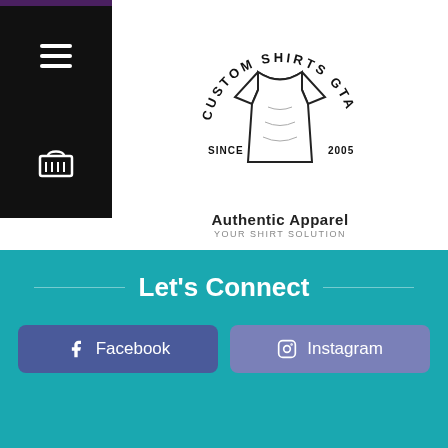[Figure (logo): Custom Shirts GTA logo with a t-shirt illustration, circular text reading CUSTOM SHIRTS GTA, SINCE 2005, Authentic Apparel, YOUR SHIRT SOLUTION]
Let's Connect
Facebook
Instagram